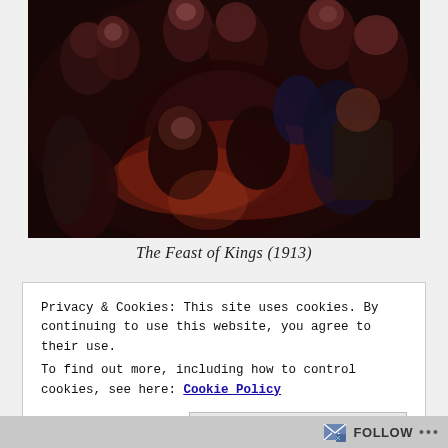[Figure (illustration): A dark expressionist oil painting depicting a crowded scene of figures at a feast, with distorted human forms in deep reds, dark blues, and blacks. Multiple figures are shown eating, embracing, and gesturing in a chaotic composition.]
The Feast of Kings (1913)
Privacy & Cookies: This site uses cookies. By continuing to use this website, you agree to their use.
To find out more, including how to control cookies, see here: Cookie Policy
Close and accept
FOLLOW ...